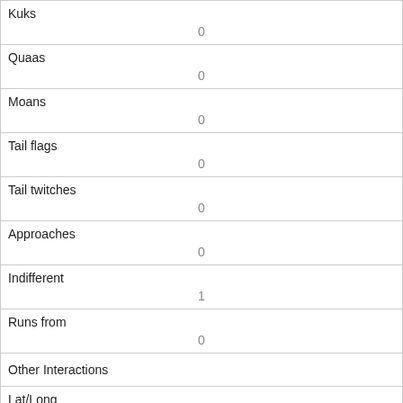| Kuks | 0 |
| Quaas | 0 |
| Moans | 0 |
| Tail flags | 0 |
| Tail twitches | 0 |
| Approaches | 0 |
| Indifferent | 1 |
| Runs from | 0 |
| Other Interactions |  |
| Lat/Long | POINT (-73.9801562527339 40.7687267327113) |